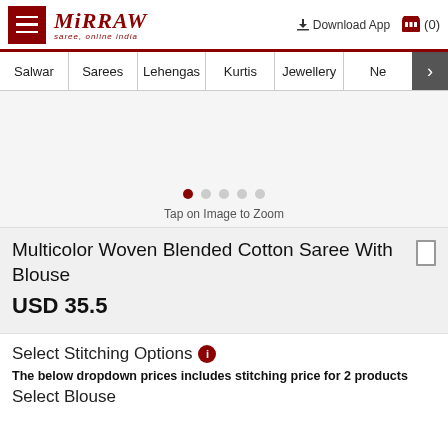Mirraw — saree, online india
Salwar | Sarees | Lehengas | Kurtis | Jewellery | Ne
[Figure (photo): Product image carousel area with 5 navigation dots (first dot active/filled), below which shows 'Tap on Image to Zoom' text]
Multicolor Woven Blended Cotton Saree With Blouse
USD 35.5
Select Stitching Options
The below dropdown prices includes stitching price for 2 products
Select Blouse